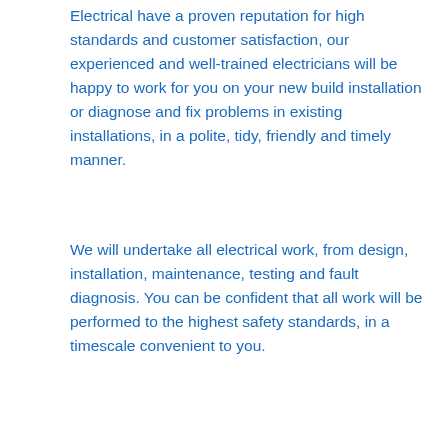Electrical have a proven reputation for high standards and customer satisfaction, our experienced and well-trained electricians will be happy to work for you on your new build installation or diagnose and fix problems in existing installations, in a polite, tidy, friendly and timely manner.
We will undertake all electrical work, from design, installation, maintenance, testing and fault diagnosis. You can be confident that all work will be performed to the highest safety standards, in a timescale convenient to you.